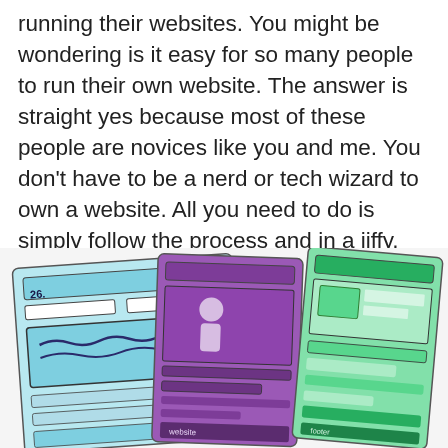running their websites. You might be wondering is it easy for so many people to run their own website. The answer is straight yes because most of these people are novices like you and me. You don't have to be a nerd or tech wizard to own a website. All you need to do is simply follow the process and in a jiffy, you would be the one to own and run your own website.
[Figure (illustration): Watercolor-style sketch illustrations of three mobile/web wireframe mockups side by side. Left card is light blue with hand-drawn UI elements including a header bar, navigation, and a text content area with squiggly lines. Middle card is purple/violet with a figure illustration and content rows. Right card is green/teal with similar wireframe UI elements. The cards are angled and overlapping slightly, suggesting a set of website or app design sketches.]